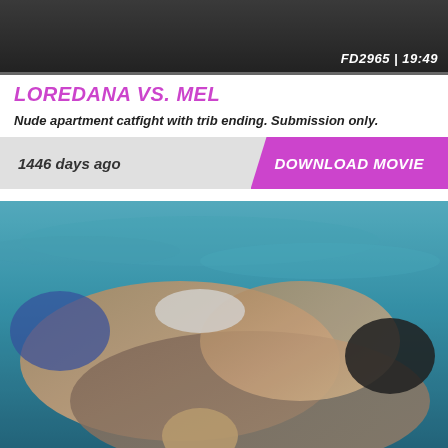[Figure (photo): Dark background image showing a wrestling/catfight scene with text overlay showing FD2965 | 19:49]
LOREDANA VS. MEL
Nude apartment catfight with trib ending. Submission only.
1446 days ago
DOWNLOAD MOVIE
[Figure (photo): Two women wrestling in a pool/water setting, both wet, one wearing blue and white swimwear with tattoos visible]